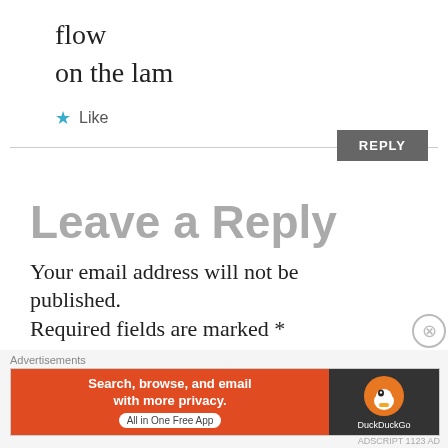flow
on the lam
★ Like
REPLY
Leave a Reply
Your email address will not be published. Required fields are marked *
Advertisements
[Figure (screenshot): DuckDuckGo advertisement banner: orange background with text 'Search, browse, and email with more privacy. All in One Free App' and DuckDuckGo logo on dark background.]